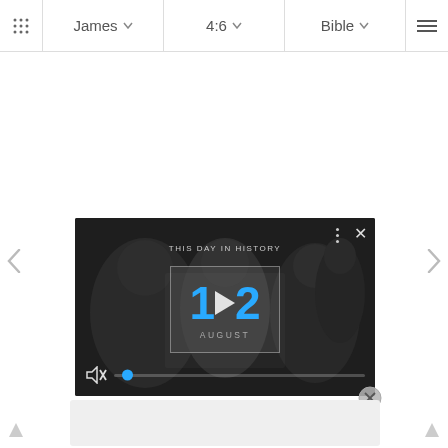⠿  James  ∨    4:6  ∨    Bible  ∨    ≡
[Figure (screenshot): Video player card showing 'THIS DAY IN HISTORY' with date 12 AUGUST, play button overlay, mute icon, and progress bar with blue dot. Dark background with silhouetted figures.]
[Figure (screenshot): Gray content box at the bottom of the screen below the video card.]